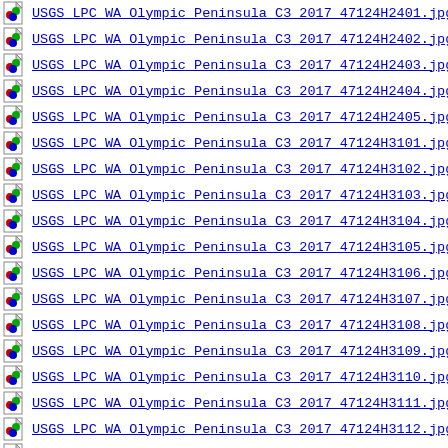USGS LPC WA Olympic Peninsula C3 2017 47124H2401.jpg
USGS LPC WA Olympic Peninsula C3 2017 47124H2402.jpg
USGS LPC WA Olympic Peninsula C3 2017 47124H2403.jpg
USGS LPC WA Olympic Peninsula C3 2017 47124H2404.jpg
USGS LPC WA Olympic Peninsula C3 2017 47124H2405.jpg
USGS LPC WA Olympic Peninsula C3 2017 47124H3101.jpg
USGS LPC WA Olympic Peninsula C3 2017 47124H3102.jpg
USGS LPC WA Olympic Peninsula C3 2017 47124H3103.jpg
USGS LPC WA Olympic Peninsula C3 2017 47124H3104.jpg
USGS LPC WA Olympic Peninsula C3 2017 47124H3105.jpg
USGS LPC WA Olympic Peninsula C3 2017 47124H3106.jpg
USGS LPC WA Olympic Peninsula C3 2017 47124H3107.jpg
USGS LPC WA Olympic Peninsula C3 2017 47124H3108.jpg
USGS LPC WA Olympic Peninsula C3 2017 47124H3109.jpg
USGS LPC WA Olympic Peninsula C3 2017 47124H3110.jpg
USGS LPC WA Olympic Peninsula C3 2017 47124H3111.jpg
USGS LPC WA Olympic Peninsula C3 2017 47124H3112.jpg
USGS LPC WA Olympic Peninsula C3 2017 47124H3113.jpg